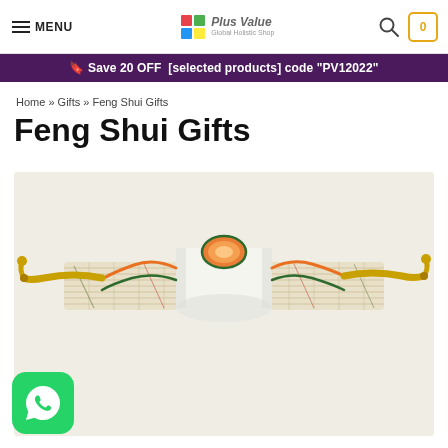MENU | Plus Value Global Holistic Shop | Search | Cart (0)
🔖 Save 20 OFF [selected products] code "PV12022"
Home » Gifts » Feng Shui Gifts
Feng Shui Gifts
[Figure (photo): A feng shui decorative item — a cylindrical white rolled fabric or scroll with orange and green agate/crystal decorations, mounted on golden branches extending horizontally on both sides, placed on a beige/natural-textured mat background.]